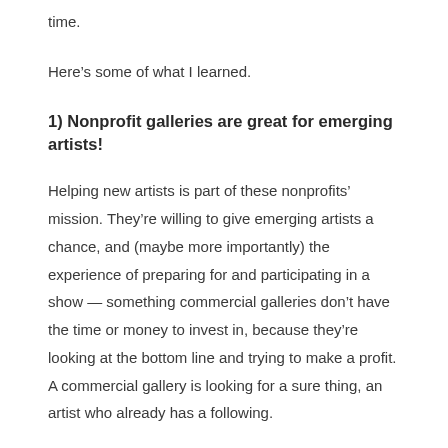time.
Here’s some of what I learned.
1) Nonprofit galleries are great for emerging artists!
Helping new artists is part of these nonprofits’ mission. They’re willing to give emerging artists a chance, and (maybe more importantly) the experience of preparing for and participating in a show — something commercial galleries don’t have the time or money to invest in, because they’re looking at the bottom line and trying to make a profit. A commercial gallery is looking for a sure thing, an artist who already has a following.